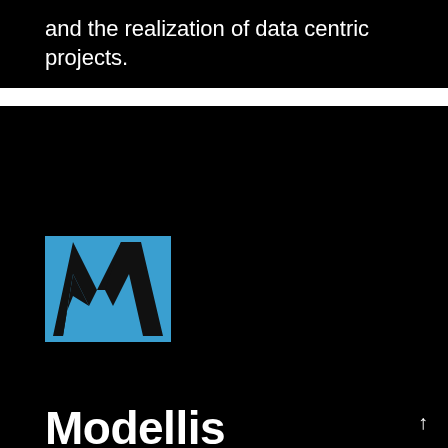and the realization of data centric projects.
[Figure (logo): Modellis company logo: stylized letter M in black on a blue square background]
Modellis
Crunchbase Website Twitter Facebook Linkedin
French consulting firm dedicated to promote Adaptive Insights suite and pre-built